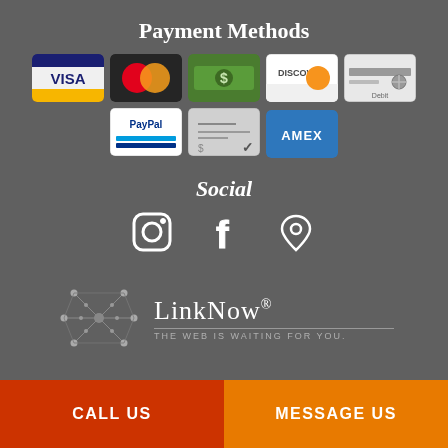Payment Methods
[Figure (infographic): Row of payment method icons: Visa, MasterCard, Cash/Dollar, Discover, Debit card, PayPal, Check/Write, and Amex]
Social
[Figure (infographic): Social media icons: Instagram, Facebook, and Location/Maps]
[Figure (logo): LinkNow logo with network graphic and tagline: THE WEB IS WAITING FOR YOU.]
CALL US
MESSAGE US